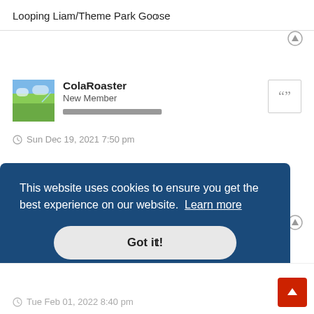Looping Liam/Theme Park Goose
ColaRoaster
New Member
Sun Dec 19, 2021 7:50 pm
Made a song, ode to rollercoasters and used a Nemesis pic for the video:
https://www.youtube.com/watch?v=iNOn3ltnPVg
This website uses cookies to ensure you get the best experience on our website.  Learn more
Got it!
Tue Feb 01, 2022 8:40 pm